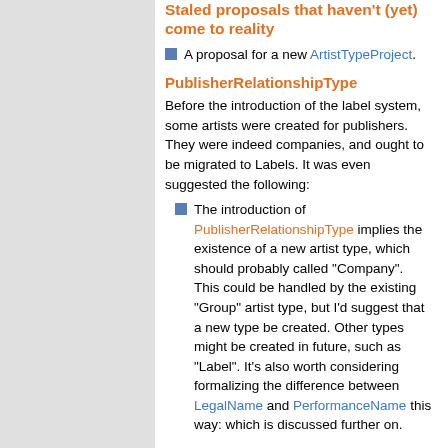Staled proposals that haven't (yet) come to reality
A proposal for a new ArtistTypeProject.
PublisherRelationshipType
Before the introduction of the label system, some artists were created for publishers. They were indeed companies, and ought to be migrated to Labels. It was even suggested the following:
The introduction of PublisherRelationshipType implies the existence of a new artist type, which should probably called "Company". This could be handled by the existing "Group" artist type, but I'd suggest that a new type be created. Other types might be created in future, such as "Label". It's also worth considering formalizing the difference between LegalName and PerformanceName this way: which is discussed further on.